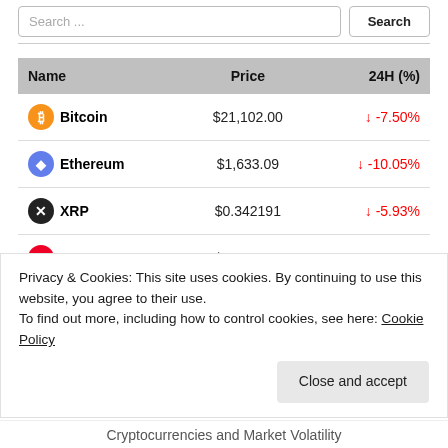Search ...
| Name | Price | 24H (%) |
| --- | --- | --- |
| Bitcoin | $21,102.00 | ↓ -7.50% |
| Ethereum | $1,633.09 | ↓ -10.05% |
| XRP | $0.342191 | ↓ -5.93% |
| TRON | $0.064952 | ↓ -2.33% |
| Monero | $143.96 | ↓ -7.40% |
Privacy & Cookies: This site uses cookies. By continuing to use this website, you agree to their use. To find out more, including how to control cookies, see here: Cookie Policy
Close and accept
Cryptocurrencies and Market Volatility